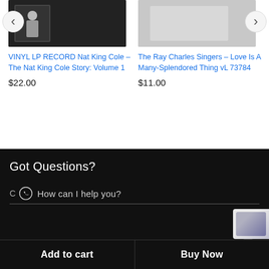[Figure (screenshot): Product image of Nat King Cole vinyl record album, dark background]
[Figure (screenshot): Product image of The Ray Charles Singers album, light gray background]
VINYL LP RECORD Nat King Cole – The Nat King Cole Story: Volume 1
$22.00
The Ray Charles Singers – Love Is A Many-Splendored Thing vL 73784
$11.00
Got Questions?
How can I help you?
Add to cart    Buy Now